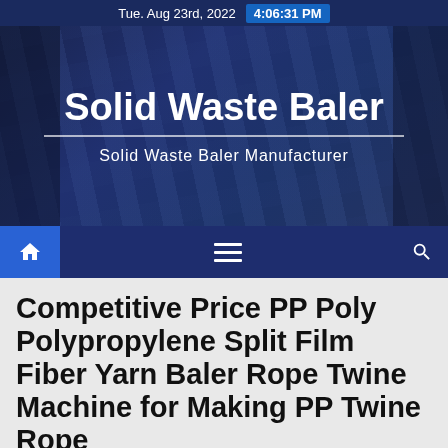Tue. Aug 23rd, 2022  4:06:31 PM
[Figure (screenshot): Website header banner showing 'Solid Waste Baler' title with building glass reflection background]
Solid Waste Baler
Solid Waste Baler Manufacturer
[Figure (infographic): Navigation bar with home icon button, hamburger menu icon, and search icon on dark navy background]
Competitive Price PP Poly Polypropylene Split Film Fiber Yarn Baler Rope Twine Machine for Making PP Twine Rope